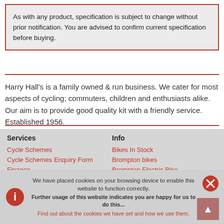As with any product, specification is subject to change without prior notification. You are advised to confirm current specification before buying.
Harry Hall's is a family owned & run business. We cater for most aspects of cycling; commuters, children and enthusiasts alike. Our aim is to provide good quality kit with a friendly service. Established 1956.
Services: Cycle Schemes, Cycle Schemes Enquiry Form, Finance, Workshop, Rent a Bike Box, Gift Voucher
Info: Bikes In Stock, Brompton bikes, Brompton Electric Bike, Shimano Steps, Bosche E-bikes, Kids Bike Size Guide
We have placed cookies on your browsing device to enable this website to function correctly. Further usage of this website indicates you are happy for us to do this... Find out about the cookies we have set and how we use them.